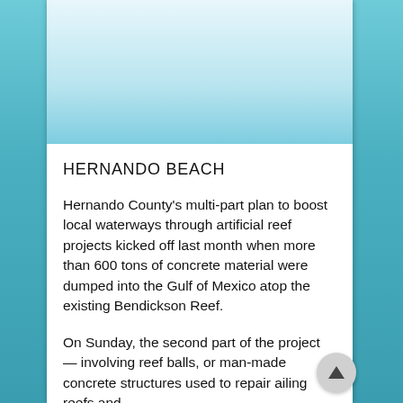[Figure (photo): Top portion of article page showing a blurred/faded coastal/water scene image area]
HERNANDO BEACH
Hernando County's multi-part plan to boost local waterways through artificial reef projects kicked off last month when more than 600 tons of concrete material were dumped into the Gulf of Mexico atop the existing Bendickson Reef.
On Sunday, the second part of the project — involving reef balls, or man-made concrete structures used to repair ailing reefs and